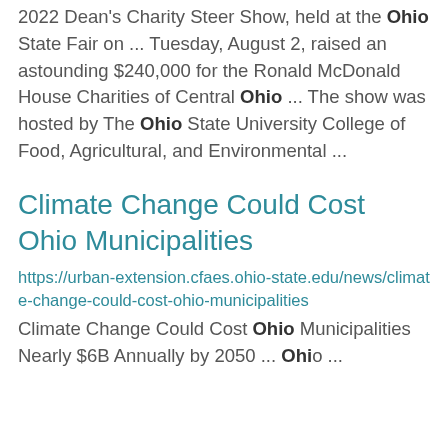2022 Dean's Charity Steer Show, held at the Ohio State Fair on ... Tuesday, August 2, raised an astounding $240,000 for the Ronald McDonald House Charities of Central Ohio ... The show was hosted by The Ohio State University College of Food, Agricultural, and Environmental ...
Climate Change Could Cost Ohio Municipalities
https://urban-extension.cfaes.ohio-state.edu/news/climate-change-could-cost-ohio-municipalities
Climate Change Could Cost Ohio Municipalities Nearly $6B Annually by 2050 ... Ohio ...